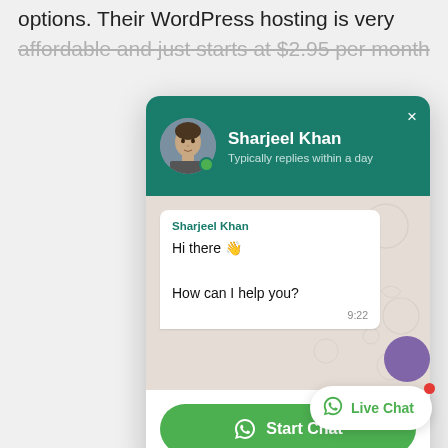options. Their WordPress hosting is very affordable and just starts at $2.95 per month
[Figure (screenshot): WhatsApp-style live chat popup with contact 'Sharjeel Khan', status 'Typically replies within a day', chat message 'Hi there 👋 How can I help you?' with timestamp 9:22, and a green 'Start Chat' button. A 'Live Chat' widget is visible in the bottom right corner.]